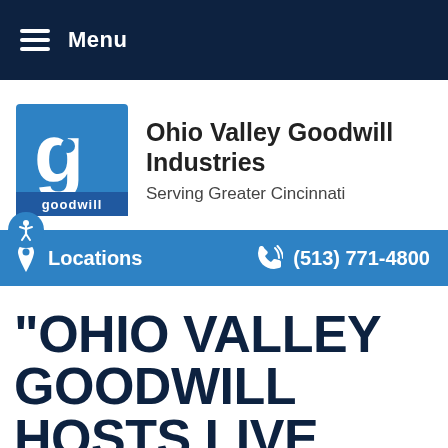Menu
[Figure (logo): Goodwill logo - blue square with white 'g' and smiling face mark, 'goodwill' text below]
Ohio Valley Goodwill Industries
Serving Greater Cincinnati
Locations   (513) 771-4800
"OHIO VALLEY GOODWILL HOSTS LIVE WEBCAST OF